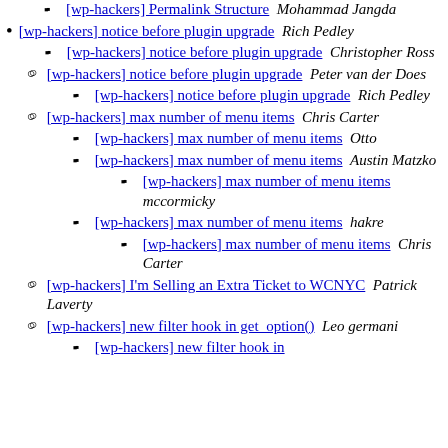[wp-hackers] Permalink Structure  Mohammad Jangda
[wp-hackers] notice before plugin upgrade  Rich Pedley
[wp-hackers] notice before plugin upgrade  Christopher Ross
[wp-hackers] notice before plugin upgrade  Peter van der Does
[wp-hackers] notice before plugin upgrade  Rich Pedley
[wp-hackers] max number of menu items  Chris Carter
[wp-hackers] max number of menu items  Otto
[wp-hackers] max number of menu items  Austin Matzko
[wp-hackers] max number of menu items  mccormicky
[wp-hackers] max number of menu items  hakre
[wp-hackers] max number of menu items  Chris Carter
[wp-hackers] I'm Selling an Extra Ticket to WCNYC  Patrick Laverty
[wp-hackers] new filter hook in get_option()  Leo germani
[wp-hackers] new filter hook in